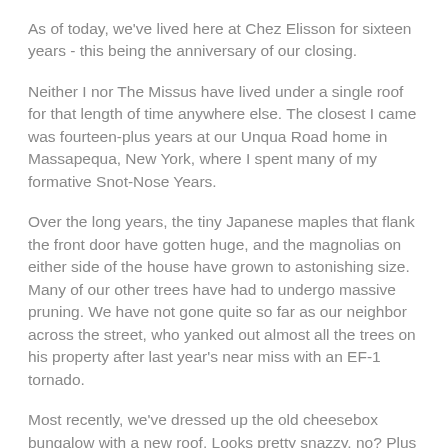As of today, we've lived here at Chez Elisson for sixteen years - this being the anniversary of our closing.
Neither I nor The Missus have lived under a single roof for that length of time anywhere else. The closest I came was fourteen-plus years at our Unqua Road home in Massapequa, New York, where I spent many of my formative Snot-Nose Years.
Over the long years, the tiny Japanese maples that flank the front door have gotten huge, and the magnolias on either side of the house have grown to astonishing size. Many of our other trees have had to undergo massive pruning. We have not gone quite so far as our neighbor across the street, who yanked out almost all the trees on his property after last year's near miss with an EF-1 tornado.
Most recently, we've dressed up the old cheesebox bungalow with a new roof. Looks pretty snazzy, no? Plus it keeps the rain off our heads at night.